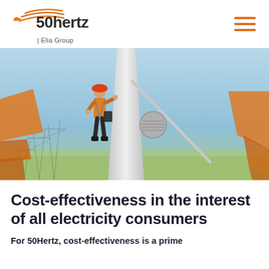[Figure (logo): 50Hertz | Elia Group logo with orange swoosh graphic and hamburger menu icon]
[Figure (photo): A worker in orange high-visibility gear and hard hat climbing a wind turbine tower, with power line pylons visible in the background under a blue sky. Orange decorative geometric shapes overlay the left and right edges.]
Cost-effectiveness in the interest of all electricity consumers
For 50Hertz, cost-effectiveness is a prime